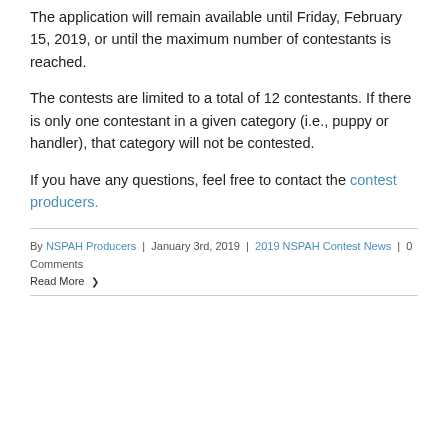The application will remain available until Friday, February 15, 2019, or until the maximum number of contestants is reached.
The contests are limited to a total of 12 contestants. If there is only one contestant in a given category (i.e., puppy or handler), that category will not be contested.
If you have any questions, feel free to contact the contest producers.
By NSPAH Producers | January 3rd, 2019 | 2019 NSPAH Contest News | 0 Comments
Read More >